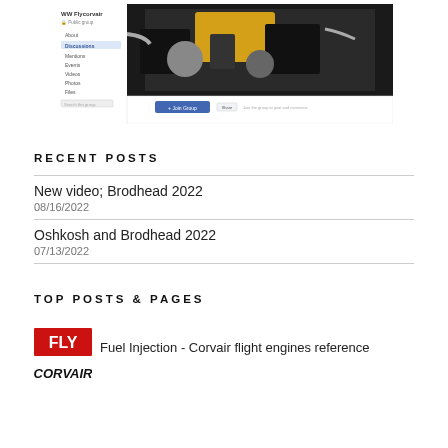[Figure (screenshot): Screenshot of a Facebook group page called 'WW Flycorvair' showing a yellow and black aircraft engine. The left sidebar shows menu items: About, Discussions, Mentions, Events, Videos, Photos, Files. There is a search bar and a blue 'Join Group' button at the bottom.]
RECENT POSTS
New video; Brodhead 2022
08/16/2022
Oshkosh and Brodhead 2022
07/13/2022
TOP POSTS & PAGES
[Figure (logo): FLY CORVAIR logo — red square with white FLY text, black CORVAIR text below in stylized font]
Fuel Injection - Corvair flight engines reference